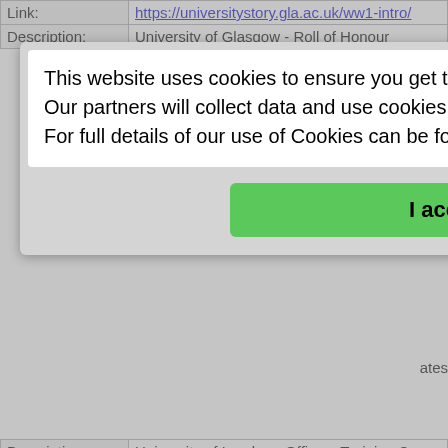| Label | Value |
| --- | --- |
| Link: | https://universitystory.gla.ac.uk/ww1-intro/ |
| Description: | University of Glasgow - Roll of Honour |
| Description: | University of London - Officers Training Corp - Roll of Service 1914-1919 |
| Extra Info: | Online book. Lists the war service and biography for each name. Also lists the fallen and those who were awarded honours. |
| Classification: | School / Educational Records / Alumni |
| Title: | University of Sheffield - Roll of Service |
| Link: | https://archive.org/details/rollofservic19100uni |
| Description: | University of Sheffield - Roll of Service 1914-19... |
This website uses cookies to ensure you get the best experience on our website.
Our partners will collect data and use cookies for ad personalization and measurement.
For full details of our use of Cookies can be found in our Privacy Policy
I accept